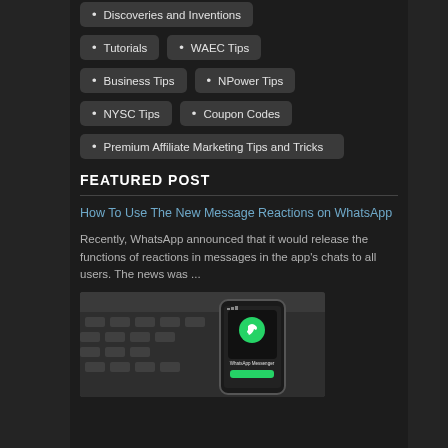Discoveries and Inventions
Tutorials
WAEC Tips
Business Tips
NPower Tips
NYSC Tips
Coupon Codes
Premium Affiliate Marketing Tips and Tricks
FEATURED POST
How To Use The New Message Reactions on WhatsApp
Recently, WhatsApp announced that it would release the functions of reactions in messages in the app's chats to all users. The news was ...
[Figure (photo): A smartphone on a keyboard showing the WhatsApp Messenger app icon and interface on screen]